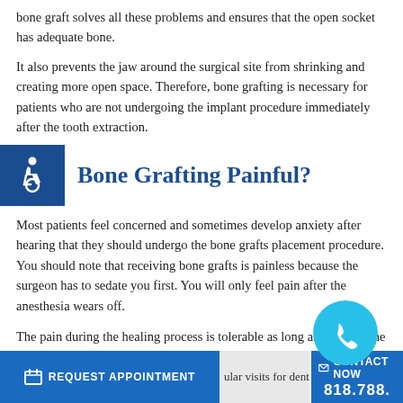bone graft solves all these problems and ensures that the open socket has adequate bone.
It also prevents the jaw around the surgical site from shrinking and creating more open space. Therefore, bone grafting is necessary for patients who are not undergoing the implant procedure immediately after the tooth extraction.
Bone Grafting Painful?
Most patients feel concerned and sometimes develop anxiety after hearing that they should undergo the bone grafts placement procedure. You should note that receiving bone grafts is painless because the surgeon has to sedate you first. You will only feel pain after the anesthesia wears off.
The pain during the healing process is tolerable as long as you take the prescribed antibiotics. The pain medications help to reduce pain and medications that individuals might experience after the regular visits for dental...
REQUEST APPOINTMENT | CONTACT NOW 818.788.